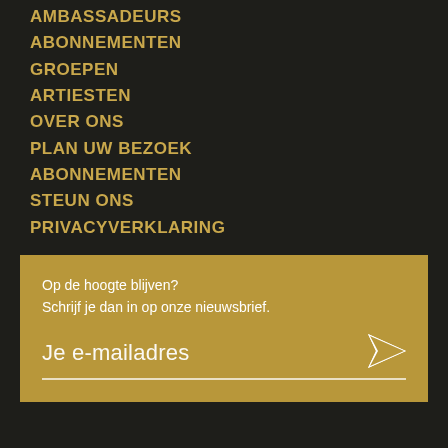AMBASSADEURS
ABONNEMENTEN
GROEPEN
ARTIESTEN
OVER ONS
PLAN UW BEZOEK
ABONNEMENTEN
STEUN ONS
PRIVACYVERKLARING
Op de hoogte blijven?
Schrijf je dan in op onze nieuwsbrief.
Je e-mailadres